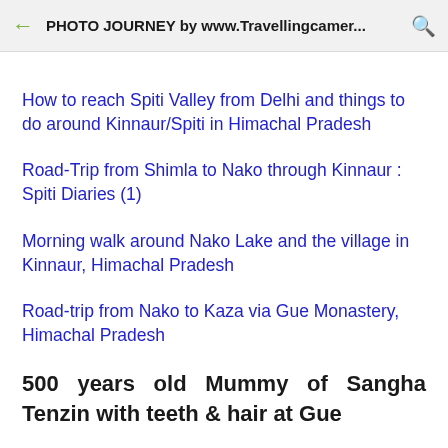PHOTO JOURNEY by www.Travellingcamer...
How to reach Spiti Valley from Delhi and things to do around Kinnaur/Spiti in Himachal Pradesh
Road-Trip from Shimla to Nako through Kinnaur : Spiti Diaries (1)
Morning walk around Nako Lake and the village in Kinnaur, Himachal Pradesh
Road-trip from Nako to Kaza via Gue Monastery, Himachal Pradesh
500 years old Mummy of Sangha Tenzin with teeth & hair at Gue